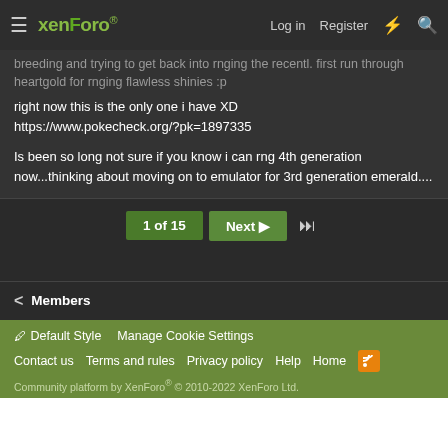XenForo | Log in | Register
breeding and trying to get back into rnging the recentl. First run through heartgold for rnging flawless shinies :p

right now this is the only one i have XD
https://www.pokecheck.org/?pk=1897335

Is been so long not sure if you know i can rng 4th generation now...thinking about moving on to emulator for 3rd generation emerald....
1 of 15 | Next | >>
< Members
Default Style | Manage Cookie Settings | Contact us | Terms and rules | Privacy policy | Help | Home | Community platform by XenForo® © 2010-2022 XenForo Ltd.